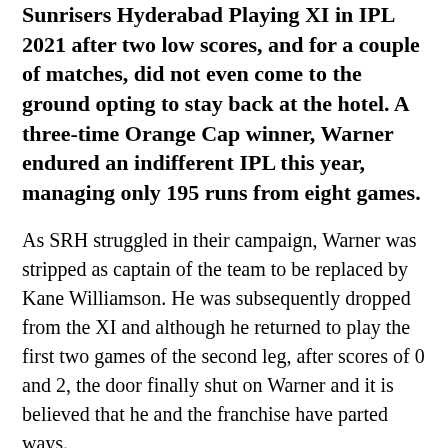Sunrisers Hyderabad Playing XI in IPL 2021 after two low scores, and for a couple of matches, did not even come to the ground opting to stay back at the hotel. A three-time Orange Cap winner, Warner endured an indifferent IPL this year, managing only 195 runs from eight games.
As SRH struggled in their campaign, Warner was stripped as captain of the team to be replaced by Kane Williamson. He was subsequently dropped from the XI and although he returned to play the first two games of the second leg, after scores of 0 and 2, the door finally shut on Warner and it is believed that he and the franchise have parted ways.
With so much noise surrounding Warner, the fact